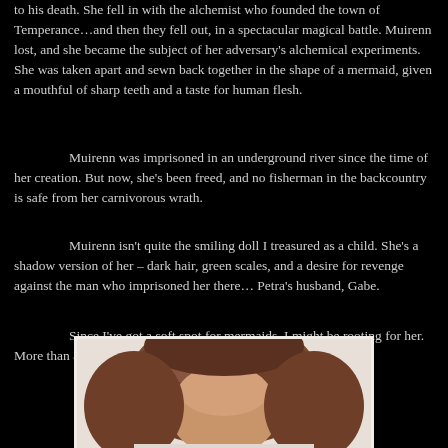to his death. She fell in with the alchemist who founded the town of Temperance…and then they fell out, in a spectacular magical battle. Muirenn lost, and she became the subject of her adversary's alchemical experiments. She was taken apart and sewn back together in the shape of a mermaid, given a mouthful of sharp teeth and a taste for human flesh.
Muirenn was imprisoned in an underground river since the time of her creation. But now, she's been freed, and no fisherman in the backcountry is safe from her carnivorous wrath.
Muirenn isn't quite the smiling doll I treasured as a child. She's a shadow version of her – dark hair, green scales, and a desire for revenge against the man who imprisoned her there… Petra's husband, Gabe.
Since I've got a soft spot for mermaids, I might be rooting for her. More than a little bit.
[Figure (photo): A photo of a person with reddish-brown hair against a light background, cropped at top portion of the image.]